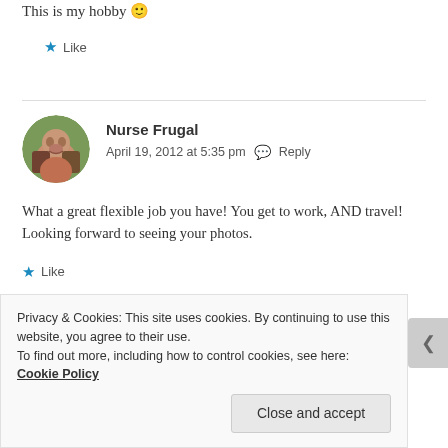This is my hobby 🙂
★ Like
Nurse Frugal
April 19, 2012 at 5:35 pm  💬 Reply
What a great flexible job you have! You get to work, AND travel! Looking forward to seeing your photos.
★ Like
Privacy & Cookies: This site uses cookies. By continuing to use this website, you agree to their use.
To find out more, including how to control cookies, see here: Cookie Policy
Close and accept